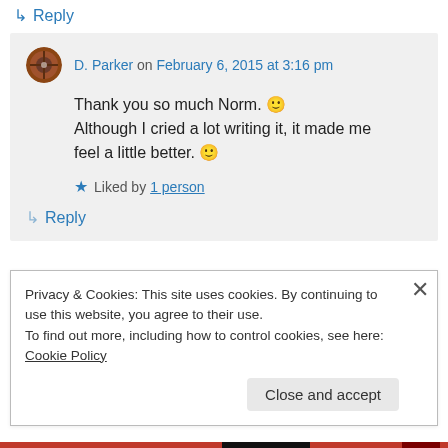↳ Reply
D. Parker on February 6, 2015 at 3:16 pm
Thank you so much Norm. 🙂 Although I cried a lot writing it, it made me feel a little better. 🙂
★ Liked by 1 person
↳ Reply
Privacy & Cookies: This site uses cookies. By continuing to use this website, you agree to their use.
To find out more, including how to control cookies, see here: Cookie Policy
Close and accept